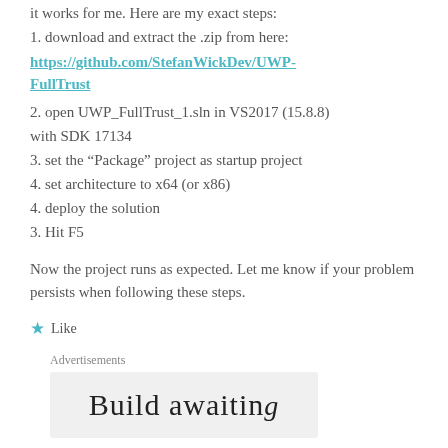it works for me. Here are my exact steps:
1. download and extract the .zip from here:
https://github.com/StefanWickDev/UWP-FullTrust
2. open UWP_FullTrust_1.sln in VS2017 (15.8.8) with SDK 17134
3. set the “Package” project as startup project
4. set architecture to x64 (or x86)
4. deploy the solution
3. Hit F5
Now the project runs as expected. Let me know if your problem persists when following these steps.
Like
Advertisements
Build awaiting...